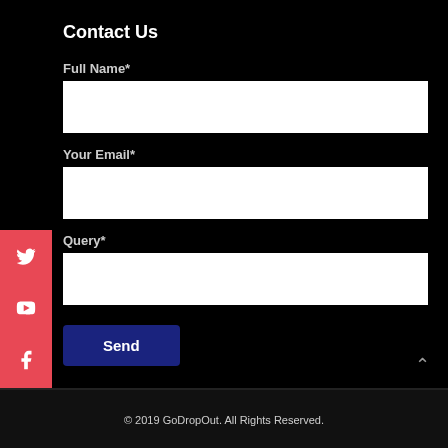Contact Us
Full Name*
Your Email*
Query*
Send
© 2019 GoDropOut. All Rights Reserved.